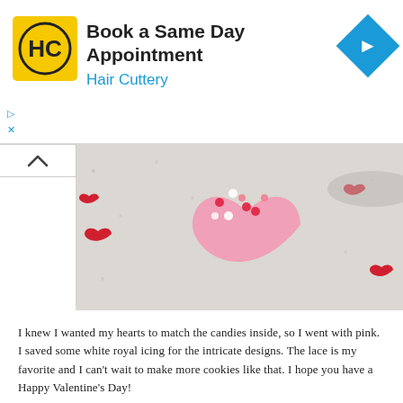[Figure (infographic): Advertisement banner for Hair Cuttery: logo with HC initials on yellow background, text 'Book a Same Day Appointment' and 'Hair Cuttery', blue diamond arrow icon on right, play/close controls on left]
[Figure (photo): Heart-shaped pink cookie covered in red, white and pink sprinkles, surrounded by small red heart candies on a light speckled surface]
I knew I wanted my hearts to match the candies inside, so I went with pink. I saved some white royal icing for the intricate designs. The lace is my favorite and I can't wait to make more cookies like that. I hope you have a Happy Valentine's Day!
Visit Dixie Crystals for the FULL RECIPE: HEART SHAPED COOKIE BOXES
[Figure (photo): Heart-shaped cookie boxes in pink and cream/tan colors with white ribbon decoration and small heart, with red candy pieces scattered around on a gray surface]